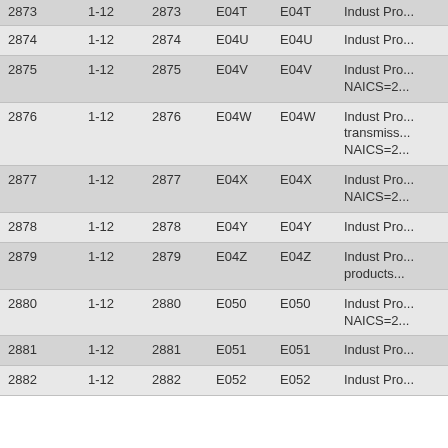|  | 1-12 |  | E04T | E04T | Indust Pro... |
| --- | --- | --- | --- | --- | --- |
| 2874 | 1-12 | 2874 | E04U | E04U | Indust Pro... |
| 2875 | 1-12 | 2875 | E04V | E04V | Indust Pro... NAICS=2... |
| 2876 | 1-12 | 2876 | E04W | E04W | Indust Pro... transmiss... NAICS=2... |
| 2877 | 1-12 | 2877 | E04X | E04X | Indust Pro... NAICS=2... |
| 2878 | 1-12 | 2878 | E04Y | E04Y | Indust Pro... |
| 2879 | 1-12 | 2879 | E04Z | E04Z | Indust Pro... products... |
| 2880 | 1-12 | 2880 | E050 | E050 | Indust Pro... NAICS=2... |
| 2881 | 1-12 | 2881 | E051 | E051 | Indust Pro... |
| 2882 | 1-12 | 2882 | E052 | E052 | Indust Pro... |